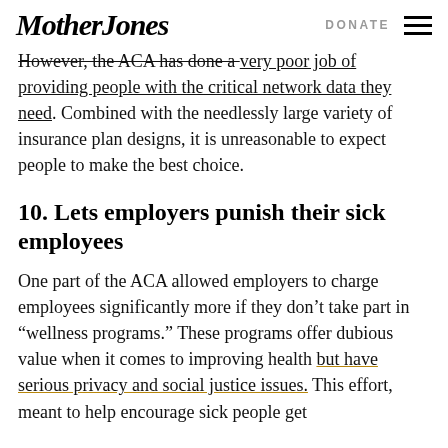Mother Jones | DONATE
However, the ACA has done a very poor job of providing people with the critical network data they need. Combined with the needlessly large variety of insurance plan designs, it is unreasonable to expect people to make the best choice.
10. Lets employers punish their sick employees
One part of the ACA allowed employers to charge employees significantly more if they don't take part in "wellness programs." These programs offer dubious value when it comes to improving health but have serious privacy and social justice issues. This effort, meant to help encourage sick people get